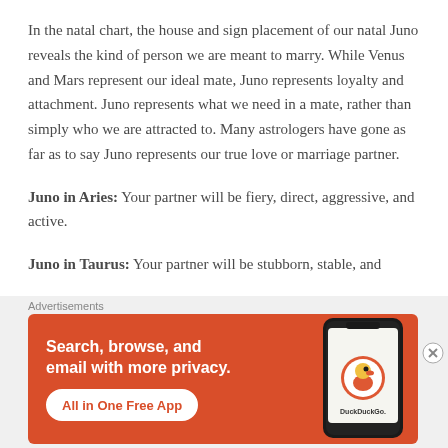In the natal chart, the house and sign placement of our natal Juno reveals the kind of person we are meant to marry. While Venus and Mars represent our ideal mate, Juno represents loyalty and attachment. Juno represents what we need in a mate, rather than simply who we are attracted to. Many astrologers have gone as far as to say Juno represents our true love or marriage partner.
Juno in Aries: Your partner will be fiery, direct, aggressive, and active.
Juno in Taurus: Your partner will be stubborn, stable, and
Advertisements
[Figure (screenshot): DuckDuckGo advertisement banner with orange background. Text reads 'Search, browse, and email with more privacy. All in One Free App' with a phone image showing DuckDuckGo app.]